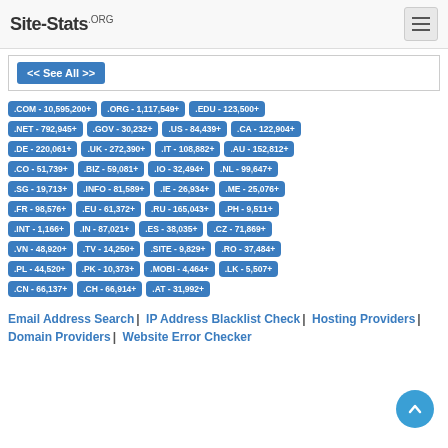Site-Stats.ORG
<< See All >>
.COM - 10,595,200+ | .ORG - 1,117,549+ | .EDU - 123,500+ | .NET - 792,945+ | .GOV - 30,232+ | .US - 84,439+ | .CA - 122,904+ | .DE - 220,061+ | .UK - 272,390+ | .IT - 108,882+ | .AU - 152,812+ | .CO - 51,739+ | .BIZ - 59,081+ | .IO - 32,494+ | .NL - 99,647+ | .SG - 19,713+ | .INFO - 81,589+ | .IE - 26,934+ | .ME - 25,076+ | .FR - 98,576+ | .EU - 61,372+ | .RU - 165,043+ | .PH - 9,511+ | .INT - 1,166+ | .IN - 87,021+ | .ES - 38,035+ | .CZ - 71,869+ | .VN - 48,920+ | .TV - 14,250+ | .SITE - 9,829+ | .RO - 37,484+ | .PL - 44,520+ | .PK - 10,373+ | .MOBI - 4,464+ | .LK - 5,507+ | .CN - 66,137+ | .CH - 66,914+ | .AT - 31,992+
Email Address Search | IP Address Blacklist Check | Hosting Providers | Domain Providers | Website Error Checker